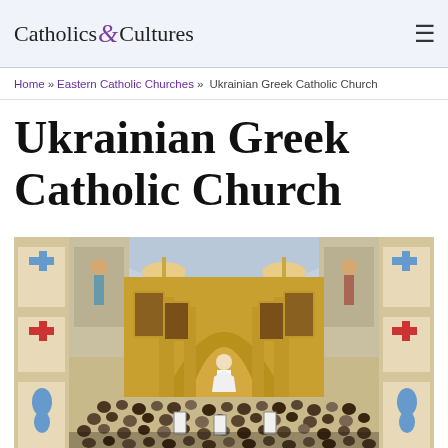Catholics & Cultures
Home » Eastern Catholic Churches » Ukrainian Greek Catholic Church
Ukrainian Greek Catholic Church
[Figure (photo): Interior of a Ukrainian Greek Catholic church with ornate golden iconostasis, Byzantine-style murals on columns, chandeliers, and a large congregation gathered for a service, viewed from an elevated angle]